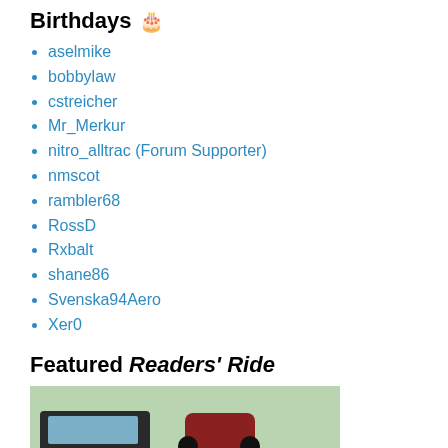Birthdays 🎂
aselmike
bobbylaw
cstreicher
Mr_Merkur
nitro_alltrac (Forum Supporter)
nmscot
rambler68
RossD
Rxbalt
shane86
Svenska94Aero
Xer0
Featured Readers' Ride
[Figure (photo): A pickup truck with black and orange stripe paint job, with a motorcycle loaded in the truck bed, parked in a suburban driveway.]